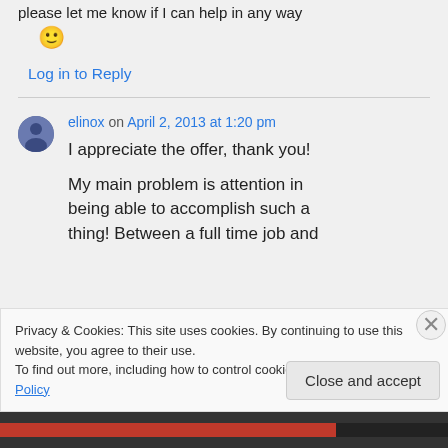please let me know if I can help in any way
🙂
Log in to Reply
elinox on April 2, 2013 at 1:20 pm
I appreciate the offer, thank you!
My main problem is attention in being able to accomplish such a thing! Between a full time job and
Privacy & Cookies: This site uses cookies. By continuing to use this website, you agree to their use.
To find out more, including how to control cookies, see here: Cookie Policy
Close and accept